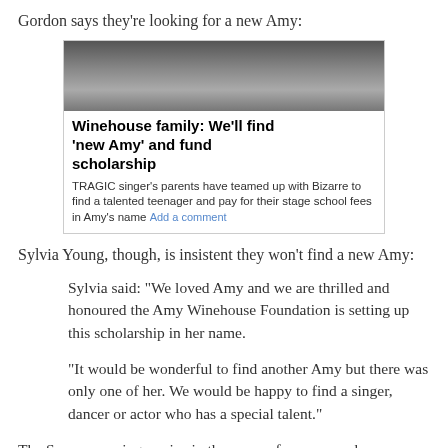Gordon says they're looking for a new Amy:
[Figure (screenshot): Embedded news article screenshot showing a photo of Amy Winehouse at top, with headline 'Winehouse family: We'll find 'new Amy' and fund scholarship' and body text 'TRAGIC singer's parents have teamed up with Bizarre to find a talented teenager and pay for their stage school fees in Amy's name' followed by an 'Add a comment' link.]
Sylvia Young, though, is insistent they won't find a new Amy:
Sylvia said: "We loved Amy and we are thrilled and honoured the Amy Winehouse Foundation is setting up this scholarship in her name.
"It would be wonderful to find another Amy but there was only one of her. We would be happy to find a singer, dancer or actor who has a special talent."
The Sun sponsoring a prize in the name of someone whose decline they helped precipitate. Presumably applications must be accompanied by a long-lens photo.